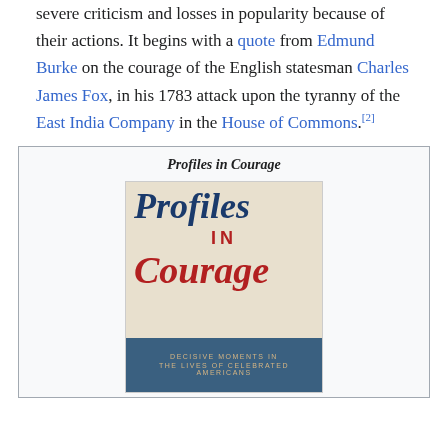severe criticism and losses in popularity because of their actions. It begins with a quote from Edmund Burke on the courage of the English statesman Charles James Fox, in his 1783 attack upon the tyranny of the East India Company in the House of Commons.[2]
Profiles in Courage
[Figure (photo): Book cover of 'Profiles in Courage' showing the title in large serif italic blue text, 'IN' in red uppercase sans-serif, 'Courage' in large red italic serif text, on a beige background with a blue band at the bottom reading 'DECISIVE MOMENTS IN THE LIVES OF CELEBRATED AMERICANS']